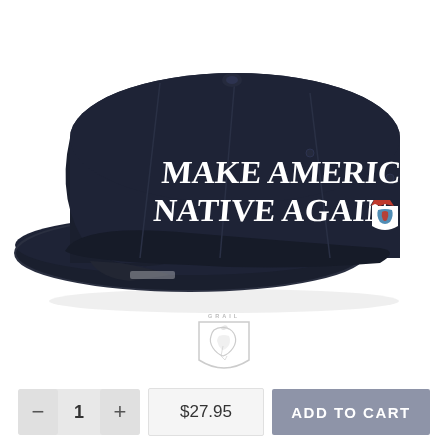[Figure (photo): A dark navy blue snapback cap with white embroidered text reading 'MAKE AMERICA NATIVE AGAIN' on the front panel, and a small logo patch on the side. The cap has a flat brim.]
[Figure (logo): A brand shield logo with a stylized horse/dragon figure inside, with small text above reading what appears to be a brand name.]
$27.95
ADD TO CART